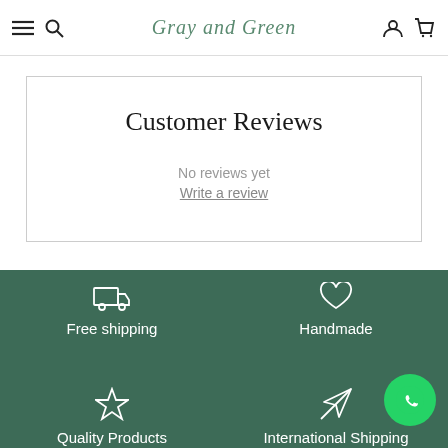Gray and Green — navigation header with menu, search, account, and cart icons
Customer Reviews
No reviews yet
Write a review
[Figure (infographic): Green footer banner with four icons: truck (Free shipping), heart (Handmade), star (Quality Products), airplane (International Shipping)]
[Figure (logo): WhatsApp floating button (green circle with phone handset icon)]